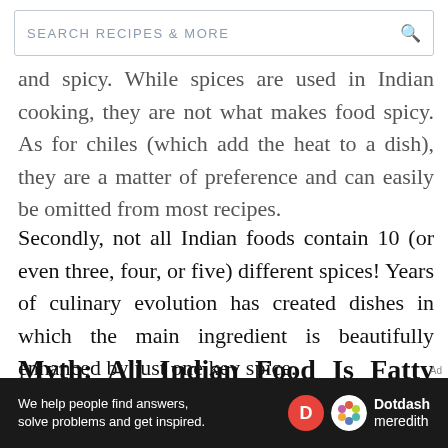SEARCH RECIPES & MORE
and spicy. While spices are used in Indian cooking, they are not what makes food spicy. As for chiles (which add the heat to a dish), they are a matter of preference and can easily be omitted from most recipes.
Secondly, not all Indian foods contain 10 (or even three, four, or five) different spices! Years of culinary evolution has created dishes in which the main ingredient is beautifully enhanced by just one key spice.
Myth: All Indian Food Is Fatty and Unhealthy
[Figure (logo): Dotdash Meredith advertisement banner with text: We help people find answers, solve problems and get inspired.]